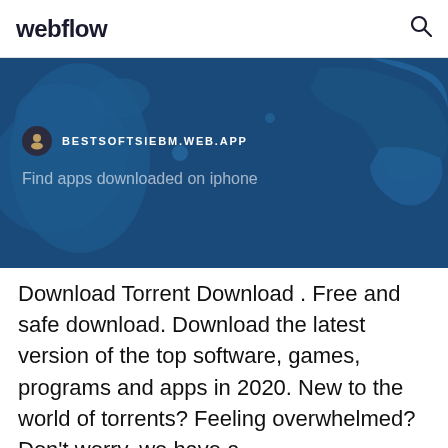webflow
[Figure (screenshot): Hero banner with dark blue world map background showing BESTSOFTSIEBM.WEB.APP site badge and text 'Find apps downloaded on iphone']
Download Torrent Download . Free and safe download. Download the latest version of the top software, games, programs and apps in 2020. New to the world of torrents? Feeling overwhelmed? Don't worry, we have a